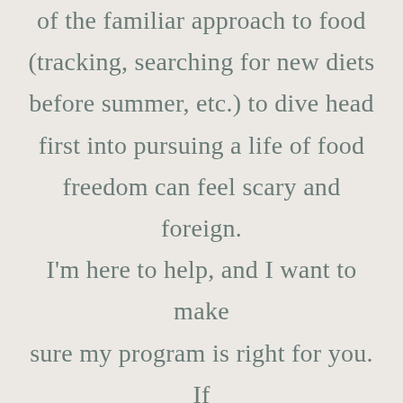of the familiar approach to food (tracking, searching for new diets before summer, etc.) to dive head first into pursuing a life of food freedom can feel scary and foreign. I'm here to help, and I want to make sure my program is right for you. If you're ready to change your life but want to confirm a few details, book in a discovery call with me here!